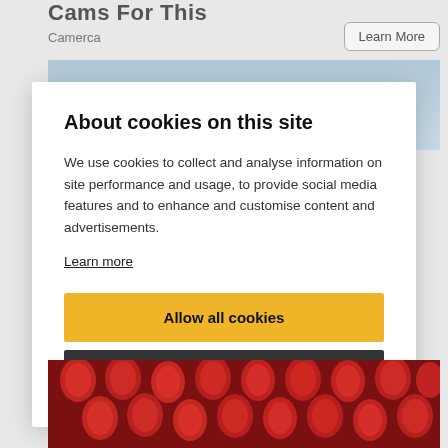Cams For This
Camerca
[Figure (screenshot): Partial blue-grey image visible at top behind modal]
About cookies on this site
We use cookies to collect and analyse information on site performance and usage, to provide social media features and to enhance and customise content and advertisements.
Learn more
Allow all cookies
Cookie settings
[Figure (photo): Photo of red strawberries displayed at a market at the bottom of the page]